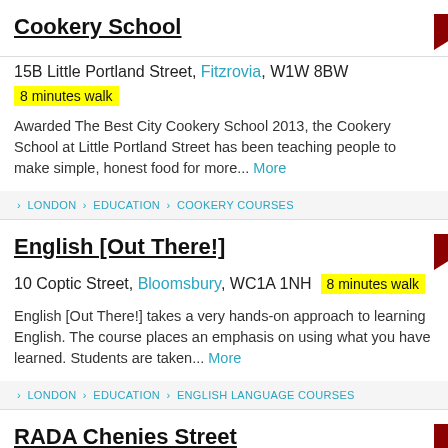Cookery School
15B Little Portland Street, Fitzrovia, W1W 8BW
8 minutes walk
Awarded The Best City Cookery School 2013, the Cookery School at Little Portland Street has been teaching people to make simple, honest food for more... More
> LONDON > EDUCATION > COOKERY COURSES
English [Out There!]
10 Coptic Street, Bloomsbury, WC1A 1NH 8 minutes walk
English [Out There!] takes a very hands-on approach to learning English. The course places an emphasis on using what you have learned. Students are taken... More
> LONDON > EDUCATION > ENGLISH LANGUAGE COURSES
RADA Chenies Street